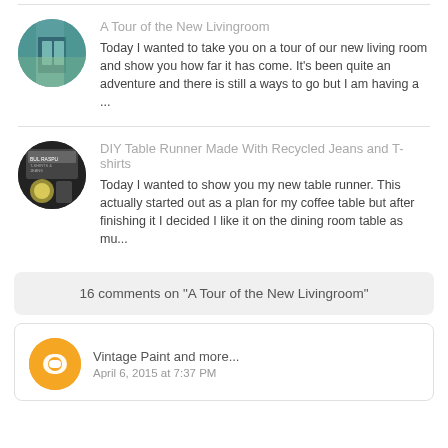[Figure (photo): Circular thumbnail of a living room with teal/green tones]
A Tour of the New Livingroom
Today I wanted to take you on a tour of our new living room and show you how far it has come. It’s been quite an adventure and there is still a ways to go but I am having a ...
[Figure (photo): Circular thumbnail of a dark interior with table items and signage]
DIY Table Runner Made With Recycled Jeans and T-shirts
Today I wanted to show you my new table runner. This actually started out as a plan for my coffee table but after finishing it I decided I like it on the dining room table as mu...
16 comments on "A Tour of the New Livingroom"
Vintage Paint and more...
April 6, 2015 at 7:37 PM